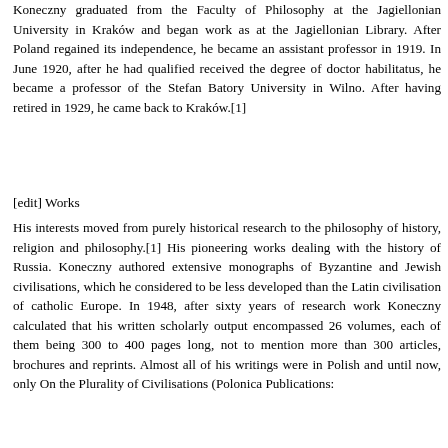Koneczny graduated from the Faculty of Philosophy at the Jagiellonian University in Kraków and began work as at the Jagiellonian Library. After Poland regained its independence, he became an assistant professor in 1919. In June 1920, after he had qualified received the degree of doctor habilitatus, he became a professor of the Stefan Batory University in Wilno. After having retired in 1929, he came back to Kraków.[1]
[edit] Works
His interests moved from purely historical research to the philosophy of history, religion and philosophy.[1] His pioneering works dealing with the history of Russia. Koneczny authored extensive monographs of Byzantine and Jewish civilisations, which he considered to be less developed than the Latin civilisation of catholic Europe. In 1948, after sixty years of research work Koneczny calculated that his written scholarly output encompassed 26 volumes, each of them being 300 to 400 pages long, not to mention more than 300 articles, brochures and reprints. Almost all of his writings were in Polish and until now, only On the Plurality of Civilisations (Polonica Publications: